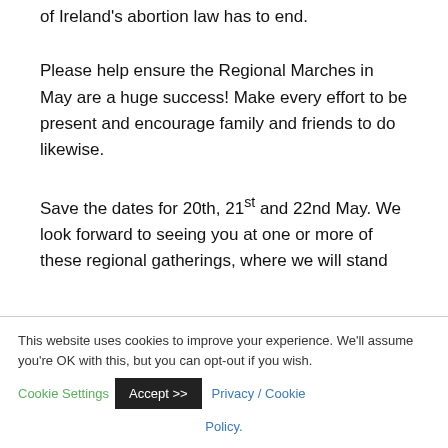of Ireland's abortion law has to end.
Please help ensure the Regional Marches in May are a huge success! Make every effort to be present and encourage family and friends to do likewise.
Save the dates for 20th, 21st and 22nd May. We look forward to seeing you at one or more of these regional gatherings, where we will stand
This website uses cookies to improve your experience. We'll assume you're OK with this, but you can opt-out if you wish. Cookie Settings Accept >> Privacy / Cookie Policy.